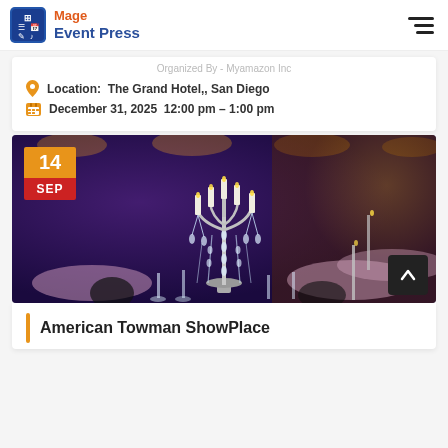Mage Event Press
Organized By - Myamazon Inc
Location:  The Grand Hotel,, San Diego
December 31, 2025   12:00 pm - 1:00 pm
[Figure (photo): Elegant banquet hall with crystal candelabra centerpiece, purple and golden lighting, event tables set with glassware. Date badge shows 14 SEP.]
American Towman ShowPlace